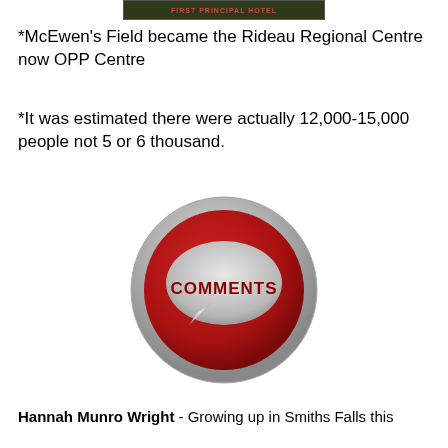[Figure (illustration): Dark olive/green banner with red text at the top of the page, partially cropped]
*McEwen's Field became the Rideau Regional Centre now OPP Centre
*It was estimated there were actually 12,000-15,000 people not 5 or 6 thousand.
[Figure (illustration): A circular red button with a silver/grey metallic rim, containing a speech bubble shape in silver/grey with the word COMMENTS in bold dark red text]
Hannah Munro Wright - Growing up in Smiths Falls this